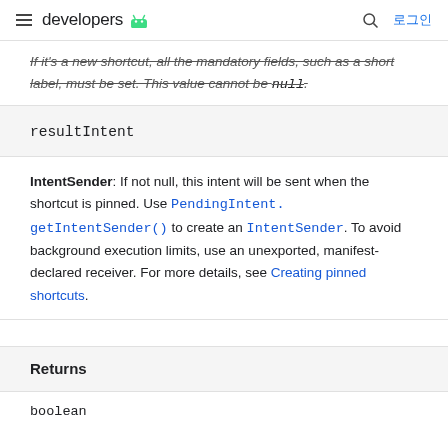developers 로그인
If it's a new shortcut, all the mandatory fields, such as a short label, must be set. This value cannot be null.
resultIntent
IntentSender: If not null, this intent will be sent when the shortcut is pinned. Use PendingIntent.getIntentSender() to create an IntentSender. To avoid background execution limits, use an unexported, manifest-declared receiver. For more details, see Creating pinned shortcuts.
Returns
boolean